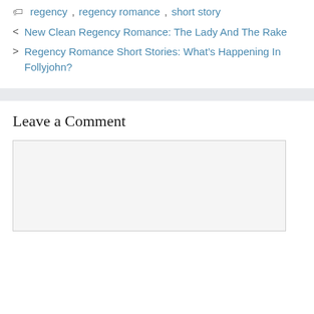regency, regency romance, short story
< New Clean Regency Romance: The Lady And The Rake
> Regency Romance Short Stories: What’s Happening In Follyjohn?
Leave a Comment